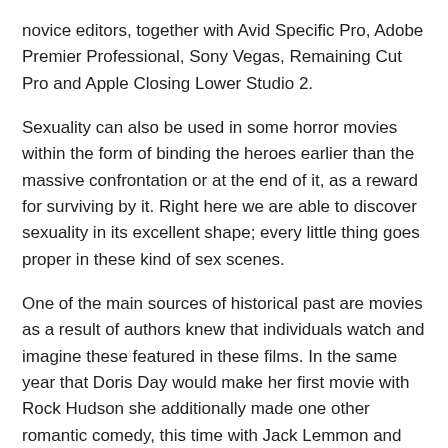novice editors, together with Avid Specific Pro, Adobe Premier Professional, Sony Vegas, Remaining Cut Pro and Apple Closing Lower Studio 2.
Sexuality can also be used in some horror movies within the form of binding the heroes earlier than the massive confrontation or at the end of it, as a reward for surviving by it. Right here we are able to discover sexuality in its excellent shape; every little thing goes proper in these kind of sex scenes.
One of the main sources of historical past are movies as a result of authors knew that individuals watch and imagine these featured in these films. In the same year that Doris Day would make her first movie with Rock Hudson she additionally made one other romantic comedy, this time with Jack Lemmon and Ernie Kovacs.
How Do Movies Have an effect on